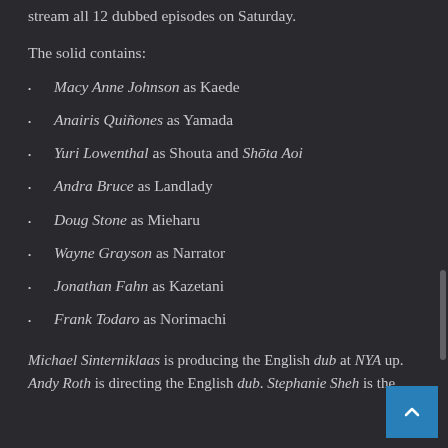stream all 12 dubbed episodes on Saturday.
The solid contains:
Macy Anne Johnson as Kaede
Anairis Quiñones as Yamada
Yuri Lowenthal as Shouta and Shōta Aoi
Andra Bruce as Landlady
Doug Stone as Mieharu
Wayne Grayson as Narrator
Jonathan Fahn as Kazetani
Frank Todaro as Norimachi
Michael Sinterniklaas is producing the English dub at NYA up. Andy Roth is directing the English dub. Stephanie Sheh is the